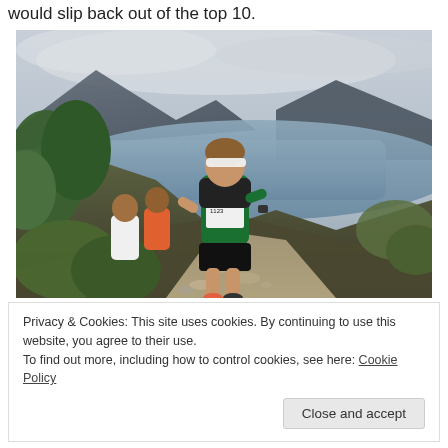would slip back out of the top 10.
[Figure (photo): Trail runners climbing a steep rocky mountain path with a large lake and mountain scenery in the background. The lead runner wears a green vest/singlet with race number 1123 and a white headband.]
Privacy & Cookies: This site uses cookies. By continuing to use this website, you agree to their use.
To find out more, including how to control cookies, see here: Cookie Policy
Close and accept